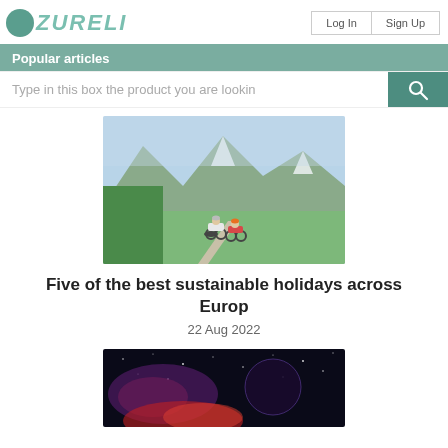ZURELI — Log In | Sign Up
Popular articles
Type in this box the product you are lookin
[Figure (photo): Two cyclists riding on a path with mountains and green meadows in the background]
Five of the best sustainable holidays across Europ
22 Aug 2022
[Figure (photo): Dark space/galaxy scene with red and purple glowing elements]